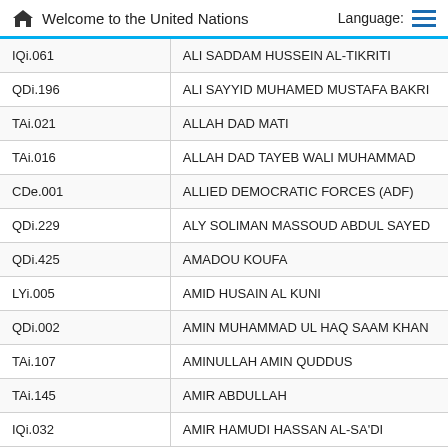Welcome to the United Nations
| Code | Name |
| --- | --- |
| IQi.061 | ALI SADDAM HUSSEIN AL-TIKRITI |
| QDi.196 | ALI SAYYID MUHAMED MUSTAFA BAKRI |
| TAi.021 | ALLAH DAD MATI |
| TAi.016 | ALLAH DAD TAYEB WALI MUHAMMAD |
| CDe.001 | ALLIED DEMOCRATIC FORCES (ADF) |
| QDi.229 | ALY SOLIMAN MASSOUD ABDUL SAYED |
| QDi.425 | AMADOU KOUFA |
| LYi.005 | AMID HUSAIN AL KUNI |
| QDi.002 | AMIN MUHAMMAD UL HAQ SAAM KHAN |
| TAi.107 | AMINULLAH AMIN QUDDUS |
| TAi.145 | AMIR ABDULLAH |
| IQi.032 | AMIR HAMUDI HASSAN AL-SA'DI |